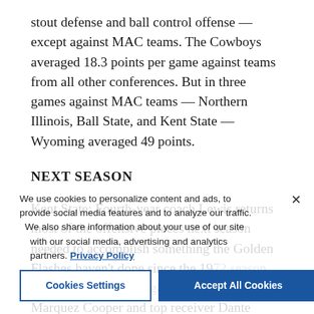stout defense and ball control offense — except against MAC teams. The Cowboys averaged 18.3 points per game against teams from all other conferences. But in three games against MAC teams — Northern Illinois, Ball State, and Kent State — Wyoming averaged 49 points.
NEXT SEASON
Kent State: Fourth-year coach Lewis returns most of the offensive pieces next season needed to accomplish something the Golden Flashes haven't done since the 1972 season with a strong passing game, leading rusher Marquez Cooper and top receiver Dante Cephas, who combined for 2,294 yards of total offense this year, will return for their junior seasons. Collin Schllee is expected to take over at quarterback after senior Dustin Crum exhausted all of his eligibility. Defense presents a bigger challenge for Lewis, who returns just four players but includes
We use cookies to personalize content and ads, to provide social media features and to analyze our traffic. We also share information about your use of our site with our social media, advertising and analytics partners. Privacy Policy
Cookies Settings | Accept All Cookies